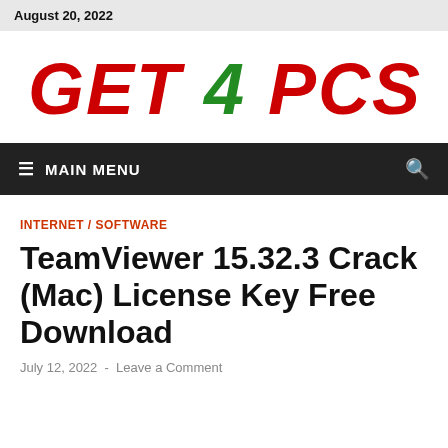August 20, 2022
[Figure (logo): GET 4 PCS logo in large bold italic text, GET and PCS in red, 4 in green]
≡  MAIN MENU
INTERNET / SOFTWARE
TeamViewer 15.32.3 Crack (Mac) License Key Free Download
July 12, 2022  -  Leave a Comment